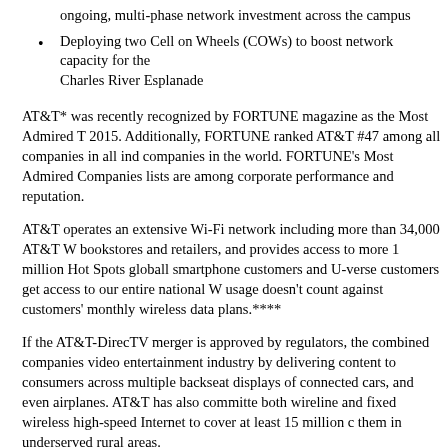ongoing, multi-phase network investment across the campus
Deploying two Cell on Wheels (COWs) to boost network capacity for the Charles River Esplanade
AT&T* was recently recognized by FORTUNE magazine as the Most Admired T 2015. Additionally, FORTUNE ranked AT&T #47 among all companies in all ind companies in the world. FORTUNE’s Most Admired Companies lists are among corporate performance and reputation.
AT&T operates an extensive Wi-Fi network including more than 34,000 AT&T W bookstores and retailers, and provides access to more 1 million Hot Spots globall smartphone customers and U-verse customers get access to our entire national W usage doesn’t count against customers’ monthly wireless data plans.****
If the AT&T-DirecTV merger is approved by regulators, the combined companies video entertainment industry by delivering content to consumers across multiple backseat displays of connected cars, and even airplanes. AT&T has also committe both wireline and fixed wireless high-speed Internet to cover at least 15 million c them in underserved rural areas.